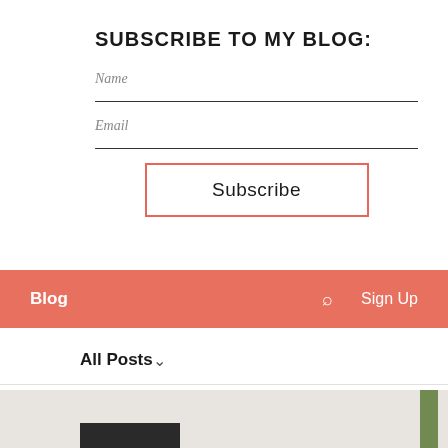SUBSCRIBE TO MY BLOG:
Name
Email
Subscribe
Blog
Sign Up
All Posts
[Figure (photo): Partial photo of a surface with a green diagonal stripe element and a dark bar, visible at the bottom of the page.]